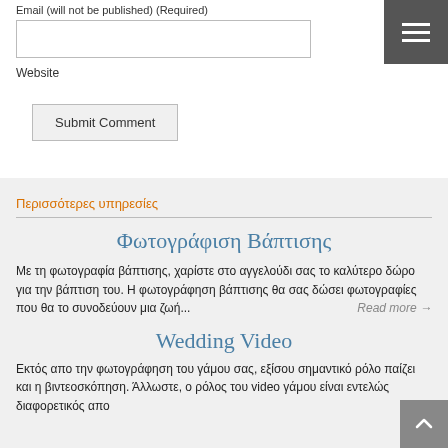Email (will not be published) (Required)
Website
Submit Comment
Περισσότερες υπηρεσίες
Φωτογράφιση Βάπτισης
Με τη φωτογραφία βάπτισης, χαρίστε στο αγγελούδι σας το καλύτερο δώρο για την βάπτιση του. Η φωτογράφηση βάπτισης θα σας δώσει φωτογραφίες που θα το συνοδεύουν μια ζωή...
Read more →
Wedding Video
Εκτός απο την φωτογράφηση του γάμου σας, εξίσου σημαντικό ρόλο παίζει και η βιντεοσκόπηση. Άλλωστε, ο ρόλος του video γάμου είναι εντελώς διαφορετικός απο